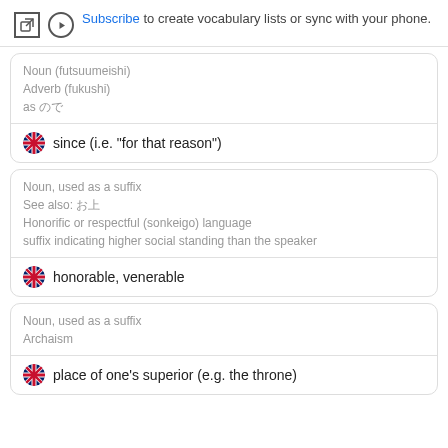Subscribe to create vocabulary lists or sync with your phone.
Noun (futsuumeishi)
Adverb (fukushi)
as ので
since (i.e. "for that reason")
Noun, used as a suffix
See also: お上
Honorific or respectful (sonkeigo) language
suffix indicating higher social standing than the speaker
honorable, venerable
Noun, used as a suffix
Archaism
place of one's superior (e.g. the throne)